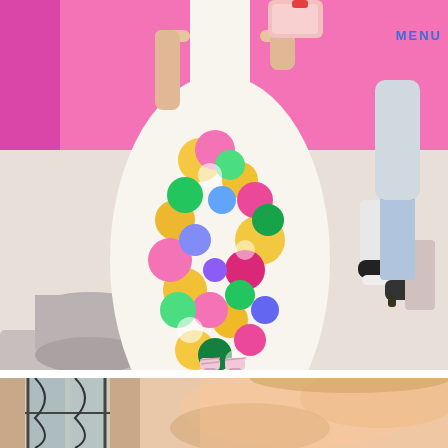[Figure (photo): Fashion runway photo of a model wearing a colorful floral maxi dress with pink, yellow, green, and blue flowers on white background, carrying a light pink clutch bag, wearing pink strappy heeled sandals. Background is bright pink wall. Other attendees visible on the right side wearing sneakers and casual clothing. Light gray circular platform visible on left. The model is walking on a light beige runway floor. A navigation overlay text 'MENU' appears in the top right corner.]
[Figure (photo): Partial view of a second fashion photo at the bottom of the page, showing a blurred close-up of a person's face/neck area in warm lighting, with a window with lattice ironwork visible in the background left, suggesting an indoor fashion setting.]